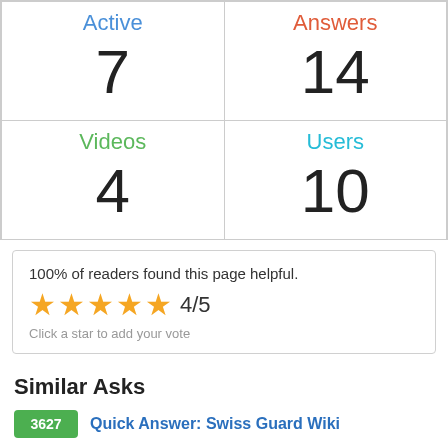| Active | Answers | Videos | Users |
| --- | --- | --- | --- |
| 7 | 14 |
| 4 | 10 |
100% of readers found this page helpful.
[Figure (other): 5 star rating showing 4/5 stars filled in orange]
Click a star to add your vote
Similar Asks
3627   Quick Answer: Swiss Guard Wiki